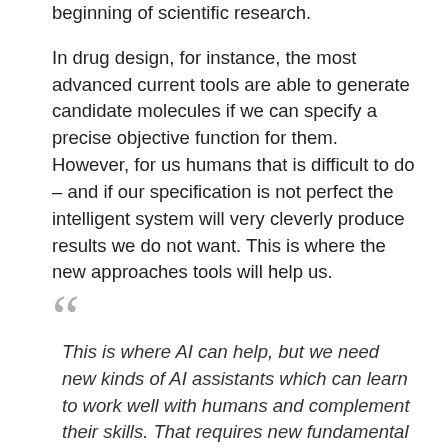beginning of scientific research.
In drug design, for instance, the most advanced current tools are able to generate candidate molecules if we can specify a precise objective function for them. However, for us humans that is difficult to do – and if our specification is not perfect the intelligent system will very cleverly produce results we do not want. This is where the new approaches tools will help us.
This is where AI can help, but we need new kinds of AI assistants which can learn to work well with humans and complement their skills. That requires new fundamental AI research, and I am glad Manchester has recognized this opportunity and is considerably strengthening its AI research. Manchester is a top-notch place to build